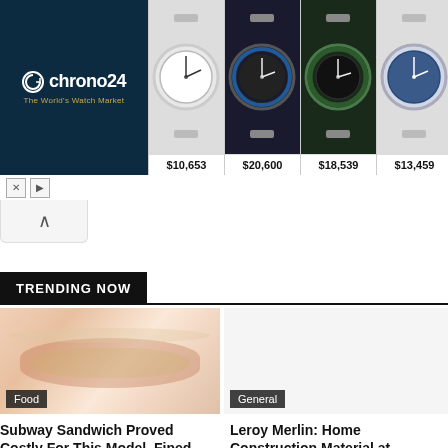[Figure (screenshot): Chrono24 advertisement banner showing logo on dark blue background and four luxury watches with prices: $10,653, $20,600, $18,539, $13,459]
[Figure (screenshot): Collapse/up-arrow button below the advertisement]
TRENDING NOW
[Figure (photo): Food photo of a Subway sandwich]
Food
Subway Sandwich Proved Costly For This Model, Fined $2,664 At Airport
[Figure (photo): General category placeholder image]
General
Leroy Merlin: Home Construction Material at Cheapest Price